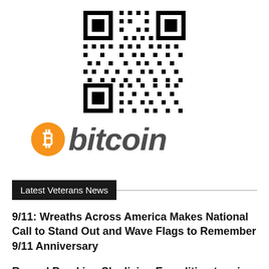[Figure (other): QR code (black and white square matrix barcode) centered at top of page]
[Figure (logo): Bitcoin logo: orange circle with white 'B' symbol followed by italic dark gray text 'bitcoin']
Latest Veterans News
9/11: Wreaths Across America Makes National Call to Stand Out and Wave Flags to Remember 9/11 Anniversary
Record Breaking Skydiving Expedition to raise $7M for spouses and children of service